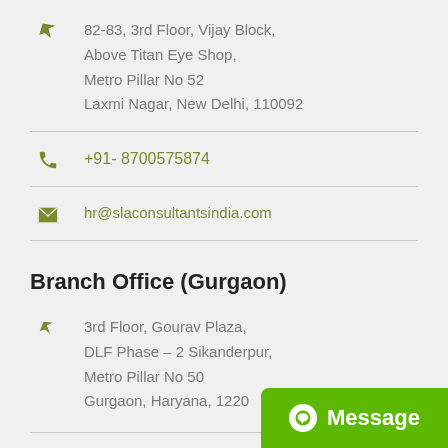82-83, 3rd Floor, Vijay Block, Above Titan Eye Shop, Metro Pillar No 52 Laxmi Nagar, New Delhi, 110092
+91- 8700575874
hr@slaconsultantsindia.com
Branch Office (Gurgaon)
3rd Floor, Gourav Plaza, DLF Phase – 2 Sikanderpur, Metro Pillar No 50 Gurgaon, Haryana, 1220...
[Figure (other): Green Message button with chat icon in bottom right corner]